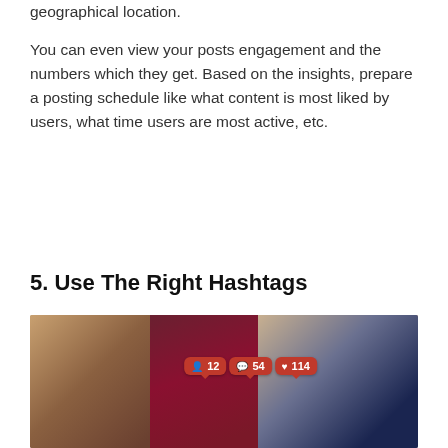geographical location.
You can even view your posts engagement and the numbers which they get. Based on the insights, prepare a posting schedule like what content is most liked by users, what time users are most active, etc.
5. Use The Right Hashtags
[Figure (photo): Three young people sitting together looking at a smartphone, with social media notification badges overlaid showing follower count (12), message count (54), and likes (114) in red badge style.]